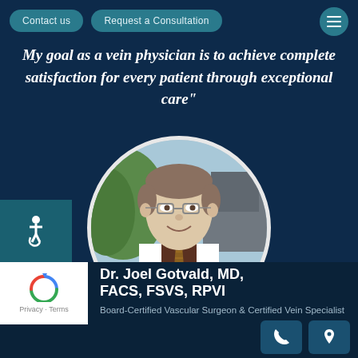Contact us | Request a Consultation
My goal as a vein physician is to achieve complete satisfaction for every patient through exceptional care
[Figure (photo): Circular portrait photo of Dr. Joel Gotvald wearing a white lab coat with a name tag, dress shirt and patterned tie, smiling, with outdoor background]
Dr. Joel Gotvald, MD, FACS, FSVS, RPVI
Board-Certified Vascular Surgeon & Certified Vein Specialist